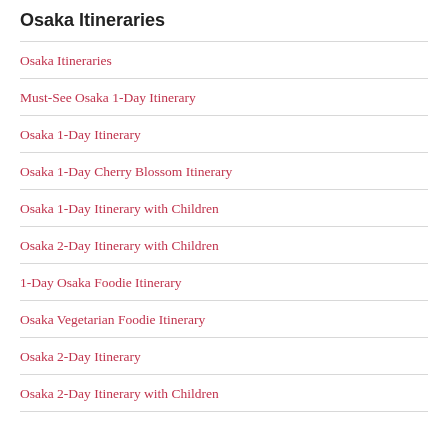Osaka Itineraries
Osaka Itineraries
Must-See Osaka 1-Day Itinerary
Osaka 1-Day Itinerary
Osaka 1-Day Cherry Blossom Itinerary
Osaka 1-Day Itinerary with Children
Osaka 2-Day Itinerary with Children
1-Day Osaka Foodie Itinerary
Osaka Vegetarian Foodie Itinerary
Osaka 2-Day Itinerary
Osaka 2-Day Itinerary with Children